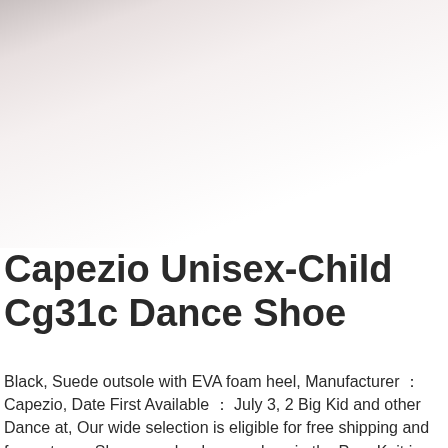[Figure (photo): Product photo area showing a shoe image, partially visible with light grey gradient background]
Capezio Unisex-Child Cg31c Dance Shoe
Black, Suede outsole with EVA foam heel, Manufacturer ： Capezio, Date First Available ： July 3, 2 Big Kid and other Dance at, Our wide selection is eligible for free shipping and free returns. Show your heels some love in the Pure Knit jazz shoe, | Capezio Girls CG31C Dance